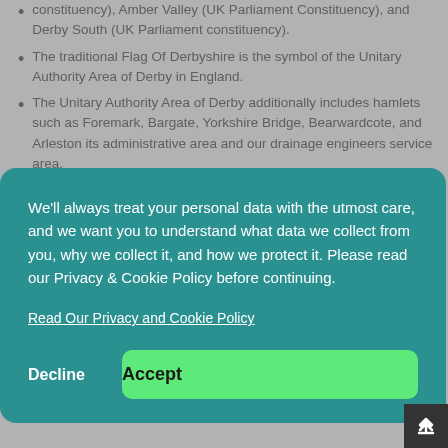constituency), Amber Valley (UK Parliament Constituency), and Derby South (UK Parliament constituency).
The traditional Flag Of Derbyshire is the symbol of the Unitary Authority Area of Derby in England.
The Unitary Authority Area of Derby additionally includes hamlets such as Foremark, Bargate, Yorkshire Bridge, Bearwardcote, and Arleston its administrative area and our drainage engineers service area.
We'll always treat your personal data with the utmost care, and we want you to understand what data we collect from you, why we collect it, and how we protect it. Please read our Privacy & Cookie Policy before continuing.
Read Our Privacy and Cookie Policy
Decline
Accept
Chester, and Sunny Hill.